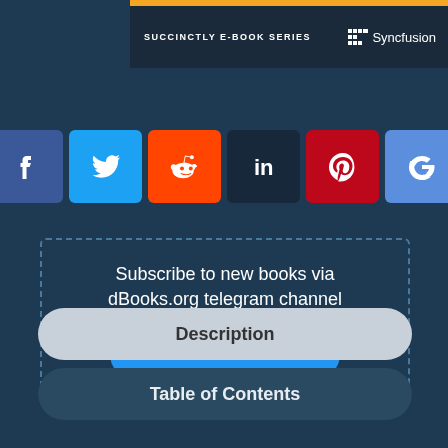SUCCINCTLY E-BOOK SERIES — Syncfusion
[Figure (infographic): Social media sharing icons row: Facebook (blue), Twitter (light blue), Reddit (orange), LinkedIn (dark), Pinterest (red), Google (blue-purple)]
Subscribe to new books via dBooks.org telegram channel
JOIN
Description
Table of Contents